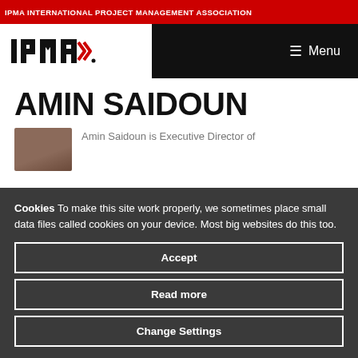IPMA INTERNATIONAL PROJECT MANAGEMENT ASSOCIATION
[Figure (logo): IPMA logo with double chevron arrows]
AMIN SAIDOUN
Amin Saidoun is Executive Director of
Cookies To make this site work properly, we sometimes place small data files called cookies on your device. Most big websites do this too.
Accept
Read more
Change Settings